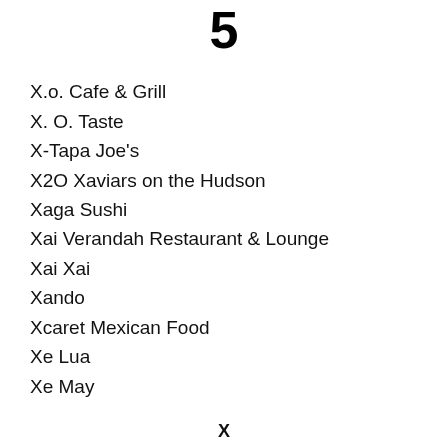5
X.o. Cafe & Grill
X. O. Taste
X-Tapa Joe's
X2O Xaviars on the Hudson
Xaga Sushi
Xai Verandah Restaurant & Lounge
Xai Xai
Xando
Xcaret Mexican Food
Xe Lua
Xe May
X